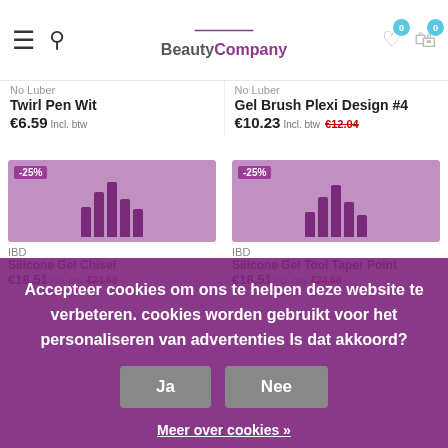Beauty Company
No Luber
Twirl Pen Wit
€6.59 Incl. btw
No Luber
Gel Brush Plexi Design #4
€10.23 Incl. btw €12.04
[Figure (screenshot): Product image placeholder for IBD Silicone Gel Chisel, -25% discount badge, product bars graphic]
[Figure (screenshot): Product image placeholder for IBD Silicone Gel Tool Taper Point, -25% discount badge]
IBD
Silicone Gel Chisel
€18,51 Incl. btw €24,68
IBD
Silicone Gel Tool Taper Point
€18,51 Incl. btw €24,68
Accepteer cookies om ons te helpen deze website te verbeteren. cookies worden gebruikt voor het personaliseren van advertenties Is dat akkoord?
Ja
Nee
Meer over cookies »
1  2  →